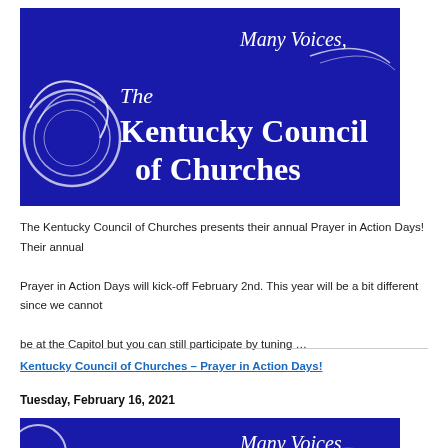[Figure (logo): The Kentucky Council of Churches banner with dark blue background, white text reading 'The Kentucky Council of Churches' and 'Many Voices...' with decorative circle logo on left]
The Kentucky Council of Churches presents their annual Prayer in Action Days! Their annual Prayer in Action Days will kick-off February 2nd. This year will be a bit different since we cannot be at the Capitol but you can still participate by tuning ...
Kentucky Council of Churches – Prayer in Action Days!
Tuesday, February 16, 2021
[Figure (logo): Second Kentucky Council of Churches banner, same style, partially visible at bottom of page with 'Many Voices...' text visible]